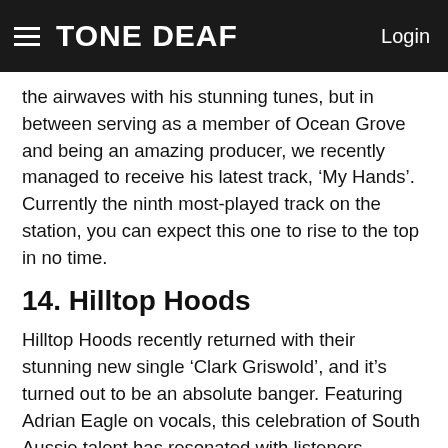TONE DEAF   Login
the airwaves with his stunning tunes, but in between serving as a member of Ocean Grove and being an amazing producer, we recently managed to receive his latest track, ‘My Hands’. Currently the ninth most-played track on the station, you can expect this one to rise to the top in no time.
14. Hilltop Hoods
Hilltop Hoods recently returned with their stunning new single ‘Clark Griswold’, and it’s turned out to be an absolute banger. Featuring Adrian Eagle on vocals, this celebration of South Aussie talent has resonated with listeners enough to see it score the honour of being this week’s eighth most-played track. There’s a pretty strong chance this one could crack the Hottest 100 this year, but will it be enough to get the Hilltop Hoods past that #3 spot